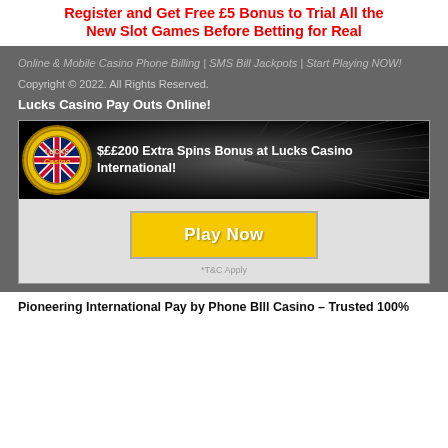Register and Get Free £5 Bonus to Trial All the New Slot Games Before Betting for Real
Online & Mobile Casino Phone Billing | SMS Bill Jackpots | Start Playing NOW!
Copyright © 2022. All Rights Reserved.
Lucks Casino Pay Outs Online!
[Figure (infographic): Lucks Casino banner with logo and text: $££200 Extra Spins Bonus at Lucks Casino International! with a Play Now button and *T&C Apply note]
Pioneering International Pay by Phone BIll Casino – Trusted 100%